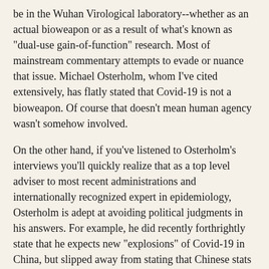be in the Wuhan Virological laboratory--whether as an actual bioweapon or as a result of what's known as "dual-use gain-of-function" research. Most of mainstream commentary attempts to evade or nuance that issue. Michael Osterholm, whom I've cited extensively, has flatly stated that Covid-19 is not a bioweapon. Of course that doesn't mean human agency wasn't somehow involved.
On the other hand, if you've listened to Osterholm's interviews you'll quickly realize that as a top level adviser to most recent administrations and internationally recognized expert in epidemiology, Osterholm is adept at avoiding political judgments in his answers. For example, he did recently forthrightly state that he expects new "explosions" of Covid-19 in China, but slipped away from stating that Chinese stats can't be trusted.
And the same goes for most mainstream publications--their denials of bioengineering at the origins of Covid-19 are largely if not uniformly tendentious and unconvincing. Earlier today I quoted an article from The Atlantic which quoted an expert who sought to distance himself from "conspiracy theorists" while sort of giving the game away: